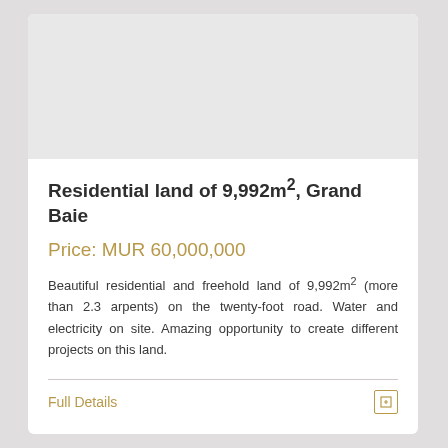[Figure (photo): Property image placeholder area (light grey background, no image shown)]
Residential land of 9,992m², Grand Baie
Price: MUR 60,000,000
Beautiful residential and freehold land of 9,992m² (more than 2.3 arpents) on the twenty-foot road. Water and electricity on site. Amazing opportunity to create different projects on this land.
Full Details